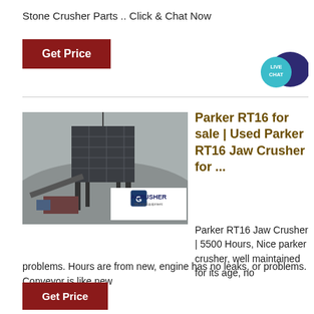Stone Crusher Parts .. Click & Chat Now
Get Price
[Figure (illustration): Live Chat bubble icon in teal and dark blue]
[Figure (photo): Industrial jaw crusher machine on a misty hillside site with ACRUSHER Mining Equipment logo overlay]
Parker RT16 for sale | Used Parker RT16 Jaw Crusher for ...
Parker RT16 Jaw Crusher | 5500 Hours, Nice parker crusher, well maintained for its age, no problems. Hours are from new, engine has no leaks, or problems. Conveyor is like new
Get Price